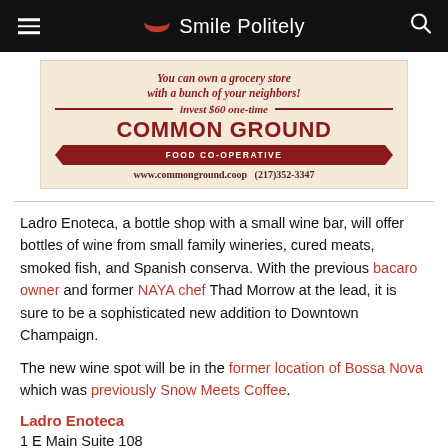Smile Politely
[Figure (infographic): Common Ground Food Co-operative advertisement. Red text on cream background reading: 'You can own a grocery store with a bunch of your neighbors! invest $60 one-time' with COMMON GROUND in large letters, FOOD CO-OPERATIVE in a red banner shape, www.commonground.coop (217)352-3347]
Ladro Enoteca, a bottle shop with a small wine bar, will offer bottles of wine from small family wineries, cured meats, smoked fish, and Spanish conserva. With the previous bacaro owner and former NAYA chef Thad Morrow at the lead, it is sure to be a sophisticated new addition to Downtown Champaign.
The new wine spot will be in the former location of Bossa Nova which was previously Snow Meets Coffee.
Ladro Enoteca
1 E Main Suite 108
Champaign
Top image from Ladro Enoteca's Instagram page.